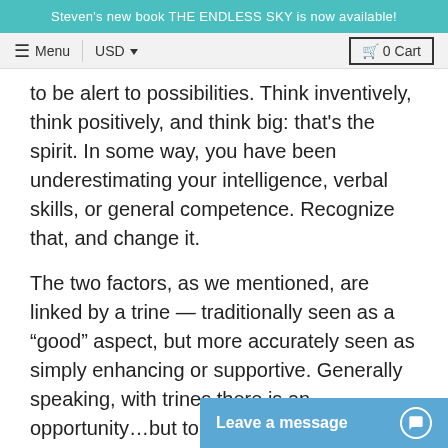Steven's new book THE ENDLESS SKY is now available!
Menu  USD  0 Cart
to be alert to possibilities. Think inventively, think positively, and think big: that's the spirit. In some way, you have been underestimating your intelligence, verbal skills, or general competence. Recognize that, and change it.
The two factors, as we mentioned, are linked by a trine — traditionally seen as a “good” aspect, but more accurately seen as simply enhancing or supportive. Generally speaking, with trines there is an opportunity…but to seize it, you must supply the initiative.
Tr. Neptune is Trine Jupiter
In effect: in progress – Jan 20, 1979
Peak Date(s): sometim